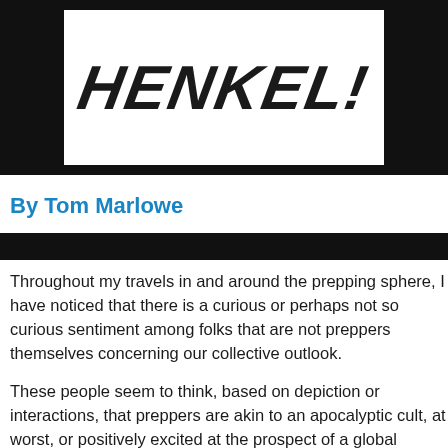[Figure (logo): White box on black background containing bold italic stylized text logo resembling 'HENKEL!' or similar brand mark in large black italic letters]
By Tom Marlowe
Throughout my travels in and around the prepping sphere, I have noticed that there is a curious or perhaps not so curious sentiment among folks that are not preppers themselves concerning our collective outlook.
These people seem to think, based on depiction or interactions, that preppers are akin to an apocalyptic cult, at worst, or positively excited at the prospect of a global catastrophe at best. This